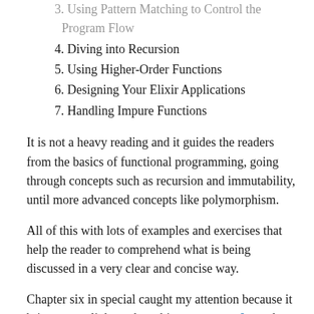3. Using Pattern Matching to Control the Program Flow
4. Diving into Recursion
5. Using Higher-Order Functions
6. Designing Your Elixir Applications
7. Handling Impure Functions
It is not a heavy reading and it guides the readers from the basics of functional programming, going through concepts such as recursion and immutability, until more advanced concepts like polymorphism.
All of this with lots of examples and exercises that help the reader to comprehend what is being discussed in a very clear and concise way.
Chapter six in special caught my attention because it brings some light to the subject Protocols and Behaviours. Even though there is a lot of material about that subject, it is pretty common for people to get confused about it, and in the book, Ulisses explains it in such a simple way through lots of